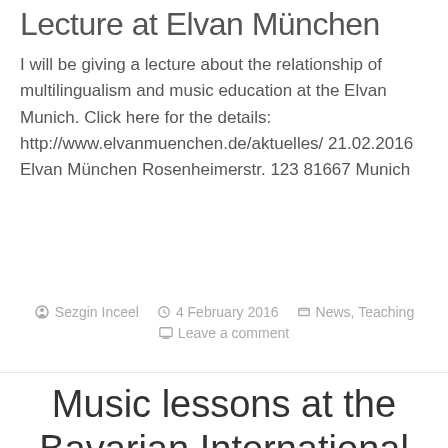Lecture at Elvan München
I will be giving a lecture about the relationship of multilingualism and music education at the Elvan Munich. Click here for the details: http://www.elvanmuenchen.de/aktuelles/ 21.02.2016 Elvan München Rosenheimerstr. 123 81667 Munich
Sezgin Inceel  4 February 2016  News, Teaching  Leave a comment
Music lessons at the Bavarian International School City C